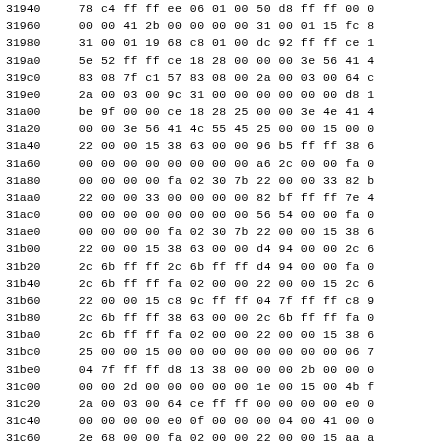| Address | Hex Data |
| --- | --- |
| 31940 | 78 c4 ff ff ee 06 01 00 50 d8 ff ff 00 0 |
| 31960 | 00 00 41 2b 00 00 00 00 31 00 01 15 fc 8 |
| 31980 | 31 00 01 19 68 c8 01 00 dc 92 ff ff ce 1 |
| 319a0 | 5e 52 ff ff ce 18 28 00 00 00 3e 56 41 4 |
| 319c0 | 83 08 7f c1 57 83 08 00 2a 00 03 00 64 c |
| 319e0 | 2a 00 03 00 9c 31 00 00 00 00 00 00 d8 1 |
| 31a00 | be 9f 00 00 ce 18 28 25 00 00 3e 4e 41 4 |
| 31a20 | 00 00 3e 56 41 4c 55 45 25 00 00 15 00 0 |
| 31a40 | 22 00 00 15 38 63 00 00 96 b5 ff ff 38 6 |
| 31a60 | 00 00 00 00 00 00 00 00 a6 2c 00 00 fa 0 |
| 31a80 | 00 00 00 00 fa 02 30 7b 22 00 00 33 82 b |
| 31aa0 | 22 00 00 33 00 00 00 00 82 bf ff ff 7e 4 |
| 31ac0 | 00 00 00 00 00 00 00 00 56 54 00 00 fa 0 |
| 31ae0 | 00 00 00 00 fa 02 30 7b 22 00 00 15 38 6 |
| 31b00 | 22 00 00 15 38 63 00 00 d4 94 00 00 2c 6 |
| 31b20 | 2c 6b ff ff 2c 6b ff ff d4 94 00 00 fa 0 |
| 31b40 | 2c 6b ff ff fa 02 00 00 22 00 00 15 2c 6 |
| 31b60 | 22 00 00 15 c8 9c ff ff 04 7f ff ff c8 9 |
| 31b80 | 2c 6b ff ff 38 63 00 00 2c 6b ff ff fa 0 |
| 31ba0 | 2c 6b ff ff fa 02 00 00 22 00 00 15 38 6 |
| 31bc0 | 25 00 00 15 00 00 00 00 00 00 00 00 06 7 |
| 31be0 | 04 7f ff ff d8 13 38 00 00 00 2b 00 00 0 |
| 31c00 | 00 00 2d 00 00 00 00 00 1e 00 15 00 4b f |
| 31c20 | 2a 00 03 00 64 ce ff ff 00 00 00 00 e0 0 |
| 31c40 | 00 00 00 00 e0 0f 00 00 00 04 00 41 00 0 |
| 31c60 | 2e 68 00 00 fa 02 00 00 22 00 00 15 aa a |
| 31c80 | 22 00 00 15 dc 92 ff ff 56 54 00 00 aa a |
| 31ca0 | 56 54 00 00 aa ab ff ff 24 6d 00 00 fa 0 |
| 31cc0 | 42 5e 00 00 f6 04 00 00 22 00 00 15 00 0 |
| 31ce0 | 22 00 00 15 02 c4 ff 00 ff 22 00 00 00 0 |